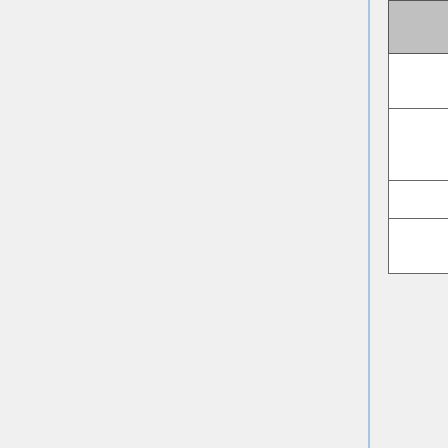| User Group | Description | Con |
| --- | --- | --- |
| CU Boulder | Aerosol precursors, CO2, O3; general adjoint code maintenance | Dav... |
| CU Boulder | Inverse modeling/optimization: variational source inversions, posterior error estimates in high-dimension; general adjoint code maintenance | Nico Bous... |
| CU Boulder | BC Inverse modeling | Li Zh... |
| CU Boulder | Identifying long-range sources of atmospheric pollutants utilizing an... | Alici... Cam... |